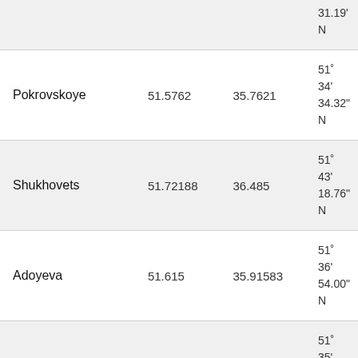| Name | Latitude | Longitude | DMS |
| --- | --- | --- | --- |
|  |  |  | 31.19' N |
| Pokrovskoye | 51.5762 | 35.7621 | 51° 34'
34.32" N |
| Shukhovets | 51.72188 | 36.485 | 51° 43'
18.76" N |
| Adoyeva | 51.615 | 35.91583 | 51° 36'
54.00" N |
| Lyutchina | 51.5946 | 35.921 | 51° 35'
40.55" N |
| Chermoshnoy | 51.57 | 35.8425 | 51° 34'
12.00" N |
| Sovetskaya Derevnya | 51.5568 | 35.8026 | 51° 33'
24.48" N |
| ... | 51.5168 | 35.4388 | 51° 32' |